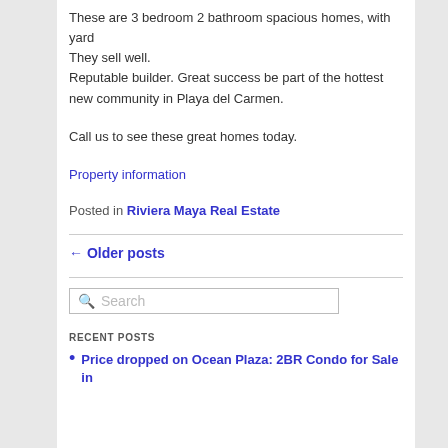These are 3 bedroom 2 bathroom spacious homes, with yard
They sell well.
Reputable builder. Great success be part of the hottest new community in Playa del Carmen.
Call us to see these great homes today.
Property information
Posted in Riviera Maya Real Estate
← Older posts
Search
RECENT POSTS
Price dropped on Ocean Plaza: 2BR Condo for Sale in